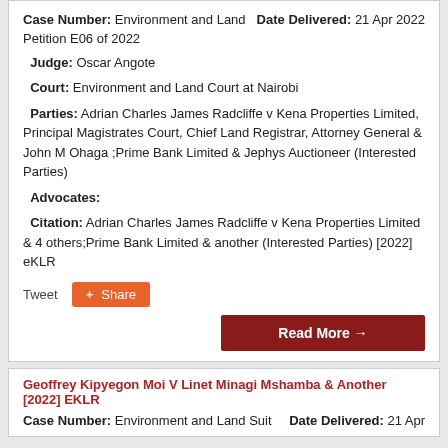Case Number: Environment and Land Petition E06 of 2022 | Date Delivered: 21 Apr 2022
Judge: Oscar Angote
Court: Environment and Land Court at Nairobi
Parties: Adrian Charles James Radcliffe v Kena Properties Limited, Principal Magistrates Court, Chief Land Registrar, Attorney General & John M Ohaga ;Prime Bank Limited & Jephys Auctioneer (Interested Parties)
Advocates:
Citation: Adrian Charles James Radcliffe v Kena Properties Limited & 4 others;Prime Bank Limited & another (Interested Parties) [2022] eKLR
Tweet | Share
Read More →
Geoffrey Kipyegon Moi V Linet Minagi Mshamba & Another [2022] EKLR
Case Number: Environment and Land Suit | Date Delivered: 21 Apr